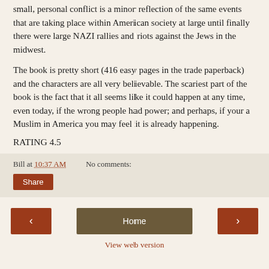small, personal conflict is a minor reflection of the same events that are taking place within American society at large until finally there were large NAZI rallies and riots against the Jews in the midwest.
The book is pretty short (416 easy pages in the trade paperback) and the characters are all very believable. The scariest part of the book is the fact that it all seems like it could happen at any time, even today, if the wrong people had power; and perhaps, if your a Muslim in America you may feel it is already happening.
RATING 4.5
Bill at 10:37 AM    No comments:
Share
‹
Home
›
View web version